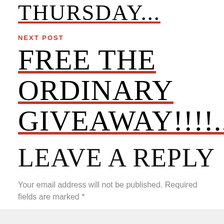THURSDAY...
NEXT POST
FREE THE ORDINARY GIVEAWAY!!!!...
LEAVE A REPLY
Your email address will not be published. Required fields are marked *
Comment *